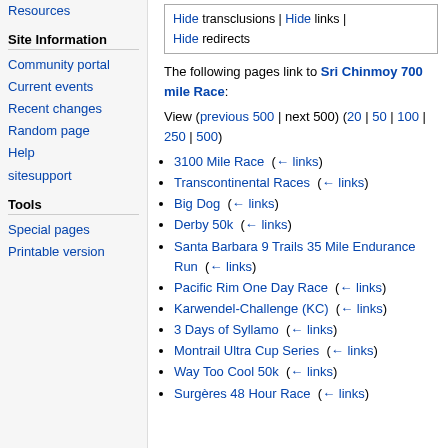Resources
Site Information
Community portal
Current events
Recent changes
Random page
Help
sitesupport
Tools
Special pages
Printable version
Hide transclusions | Hide links | Hide redirects
The following pages link to Sri Chinmoy 700 mile Race:
View (previous 500 | next 500) (20 | 50 | 100 | 250 | 500)
3100 Mile Race  (← links)
Transcontinental Races  (← links)
Big Dog  (← links)
Derby 50k  (← links)
Santa Barbara 9 Trails 35 Mile Endurance Run  (← links)
Pacific Rim One Day Race  (← links)
Karwendel-Challenge (KC)  (← links)
3 Days of Syllamo  (← links)
Montrail Ultra Cup Series  (← links)
Way Too Cool 50k  (← links)
Surgères 48 Hour Race  (← links)